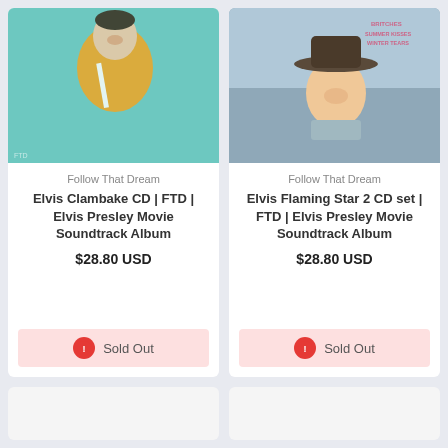[Figure (photo): Elvis Presley in orange jacket on teal background - Clambake album cover]
Follow That Dream
Elvis Clambake CD | FTD | Elvis Presley Movie Soundtrack Album
$28.80 USD
Sold Out
[Figure (photo): Elvis Presley in cowboy hat - Flaming Star album cover with text BRITCHES SUMMER KISSES WINTER TEARS]
Follow That Dream
Elvis Flaming Star 2 CD set | FTD | Elvis Presley Movie Soundtrack Album
$28.80 USD
Sold Out
[Figure (photo): Empty placeholder card bottom left]
[Figure (photo): Empty placeholder card bottom right]